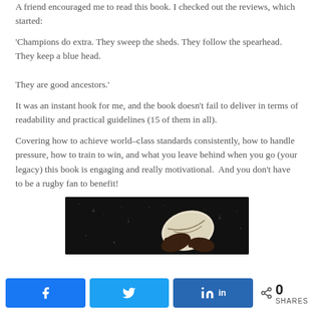A friend encouraged me to read this book. I checked out the reviews, which started:
'Champions do extra. They sweep the sheds. They follow the spearhead. They keep a blue head.

They are good ancestors.'
It was an instant hook for me, and the book doesn't fail to deliver in terms of readability and practical guidelines (15 of them in all).
Covering how to achieve world–class standards consistently, how to handle pressure, how to train to win, and what you leave behind when you go (your legacy) this book is engaging and really motivational.  And you don't have to be a rugby fan to benefit!
[Figure (photo): Dark atmospheric photo of a rugby ball being held by hands, with water droplets or rain visible against a black background]
Facebook share | Twitter share | LinkedIn share | < 0 SHARES